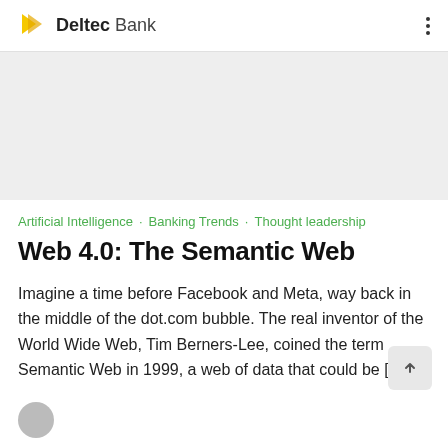Deltec Bank
[Figure (photo): Gray placeholder image area for article header photo]
Artificial Intelligence · Banking Trends · Thought leadership
Web 4.0: The Semantic Web
Imagine a time before Facebook and Meta, way back in the middle of the dot.com bubble.  The real inventor of the World Wide Web, Tim Berners-Lee, coined the term Semantic Web in 1999, a web of data that could be [...]